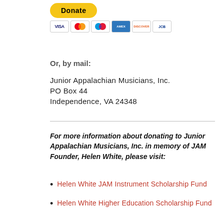[Figure (other): PayPal Donate button (yellow rounded rectangle with bold 'Donate' text) above a row of credit card icons: Visa, Mastercard, Maestro, American Express, Discover, UnionPay]
Or, by mail:
Junior Appalachian Musicians, Inc.
PO Box 44
Independence, VA 24348
For more information about donating to Junior Appalachian Musicians, Inc. in memory of JAM Founder, Helen White, please visit:
Helen White JAM Instrument Scholarship Fund
Helen White Higher Education Scholarship Fund